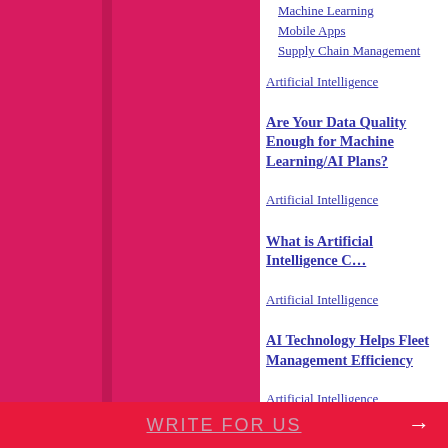Machine Learning
Mobile Apps
Supply Chain Management
Artificial Intelligence
Are Your Data Quality Enough for Machine Learning/AI Plans?
Artificial Intelligence
What is Artificial Intelligence C…
Artificial Intelligence
AI Technology Helps Fleet Management Efficiency
Artificial Intelligence
5 Ways How to Use Artificial In…
Blockchain Technology
WRITE FOR US →